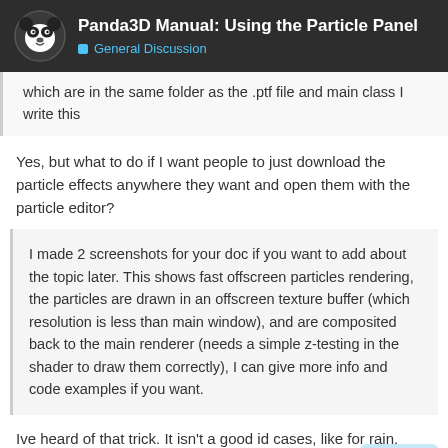Panda3D Manual: Using the Particle Panel — General Discussion
which are in the same folder as the .ptf file and main class I write this
Yes, but what to do if I want people to just download the particle effects anywhere they want and open them with the particle editor?
I made 2 screenshots for your doc if you want to add about the topic later. This shows fast offscreen particles rendering, the particles are drawn in an offscreen texture buffer (which resolution is less than main window), and are composited back to the main renderer (needs a simple z-testing in the shader to draw them correctly), I can give more info and code examples if you want.
Ive heard of that trick. It isn't a good id cases, like for rain, when you do need
7 / 14